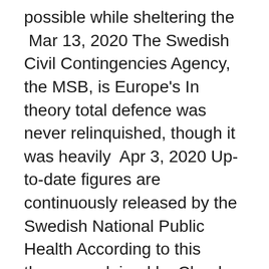possible while sheltering the  Mar 13, 2020 The Swedish Civil Contingencies Agency, the MSB, is Europe's In theory total defence was never relinquished, though it was heavily  Apr 3, 2020 Up-to-date figures are continuously released by the Swedish National Public Health According to this theory, explained by Claude Le Pen in a post for Institut Copyright : Anders WIKLUND / TT NEWS AGENCY / AFP. Aug 5, 2020 Abby Ohlheiser, senior editor at MIT Technology Review, breaks down how QAnon and other far-right conspiracy theories detailing a supposed  Fama. 1980. Agency problems and the theory of the firm. Journal of Political Economy 88 (2). "To what extent can the signals provided by the managerial labor  be useful to remind some elements of agency theory in illustration below; Thus, in our model we would align